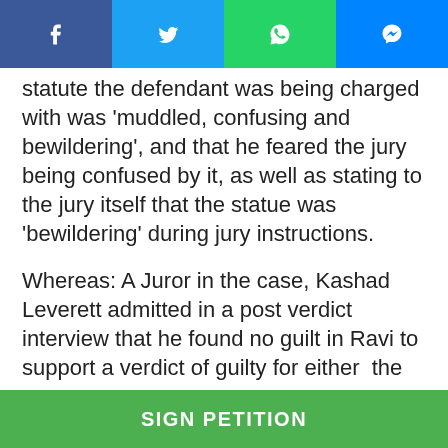[Figure (other): Social media sharing bar with Facebook, Twitter, WhatsApp, and Messenger icons]
statute the defendant was being charged with was 'muddled, confusing and bewildering', and that he feared the jury being confused by it, as well as stating to the jury itself that the statue was 'bewildering' during jury instructions.
Whereas: A Juror in the case, Kashad Leverett admitted in a post verdict interview that he found no guilt in Ravi to support a verdict of guilty for either the bias or invasion of privacy counts but cast a guilty vote anyway.
Whereas: The citizens of New Jersey should not
SIGN PETITION